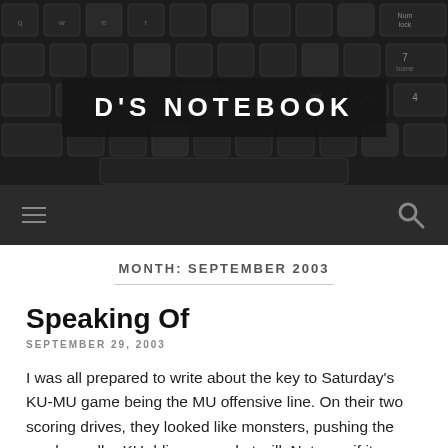[Figure (photo): Close-up photo of a dark laptop keyboard with black keys, used as a blog header background image.]
D'S NOTEBOOK
navigation bar with hamburger menu and search icon
MONTH: SEPTEMBER 2003
Speaking Of
SEPTEMBER 29, 2003
I was all prepared to write about the key to Saturday's KU-MU game being the MU offensive line. On their two scoring drives, they looked like monsters, pushing the much smaller KU d-line around at will. Not sure if it was